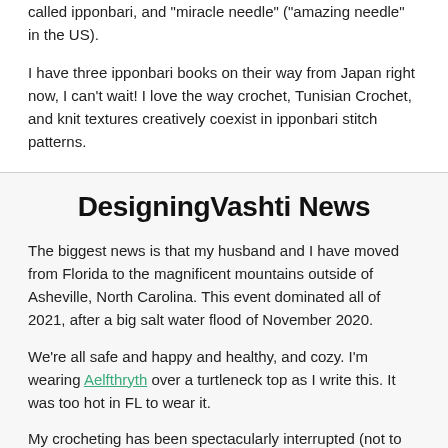called ipponbari, and "miracle needle" ("amazing needle" in the US).
I have three ipponbari books on their way from Japan right now, I can't wait! I love the way crochet, Tunisian Crochet, and knit textures creatively coexist in ipponbari stitch patterns.
DesigningVashti News
The biggest news is that my husband and I have moved from Florida to the magnificent mountains outside of Asheville, North Carolina. This event dominated all of 2021, after a big salt water flood of November 2020.
We're all safe and happy and healthy, and cozy. I'm wearing Aelfthryth over a turtleneck top as I write this. It was too hot in FL to wear it.
My crocheting has been spectacularly interrupted (not to mention the newsletter!). I've posted some crochet